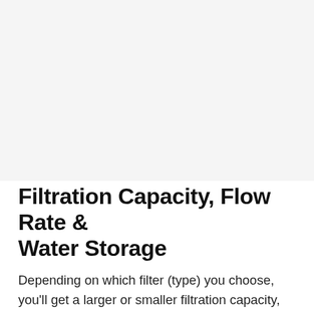[Figure (photo): Large image placeholder area with light gray background, presumably showing a water filtration product or related imagery]
Filtration Capacity, Flow Rate & Water Storage
Depending on which filter (type) you choose, you'll get a larger or smaller filtration capacity, pure water flow rate, and storage capacity.
Pro tip: If you don't like to wait for clean water being